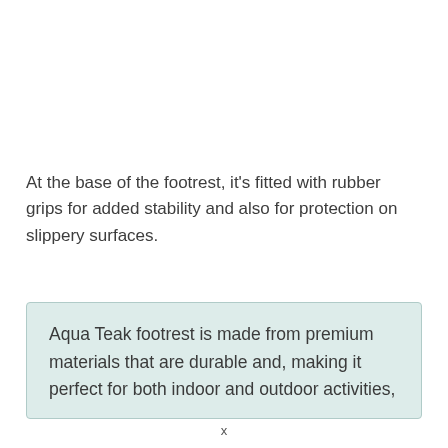At the base of the footrest, it's fitted with rubber grips for added stability and also for protection on slippery surfaces.
Aqua Teak footrest is made from premium materials that are durable and, making it perfect for both indoor and outdoor activities,
x